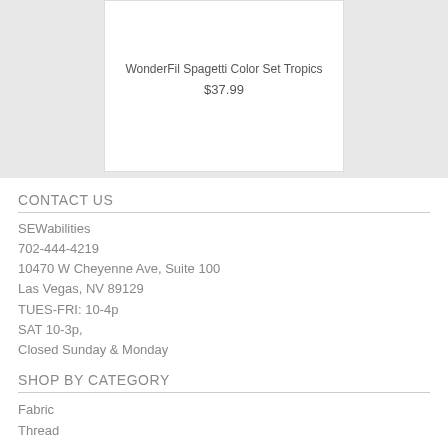[Figure (photo): Product card showing WonderFil Spagetti Color Set Tropics on a gray textured background]
WonderFil Spagetti Color Set Tropics
$37.99
CONTACT US
SEWabilities
702-444-4219
10470 W Cheyenne Ave, Suite 100
Las Vegas, NV 89129
TUES-FRI: 10-4p
SAT 10-3p,
Closed Sunday & Monday
SHOP BY CATEGORY
Fabric
Thread
Embroidery Designs
Patterns